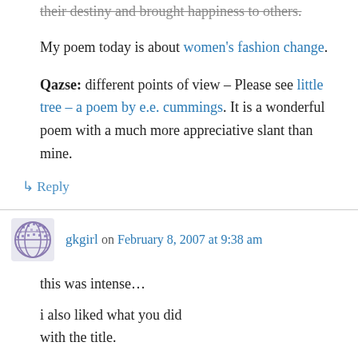their destiny and brought happiness to others.
My poem today is about women's fashion change.
Qazse: different points of view – Please see little tree – a poem by e.e. cummings. It is a wonderful poem with a much more appreciative slant than mine.
↳ Reply
gkgirl on February 8, 2007 at 9:38 am
this was intense…
i also liked what you did with the title.
Qazse: I am glad you liked the intense. I was